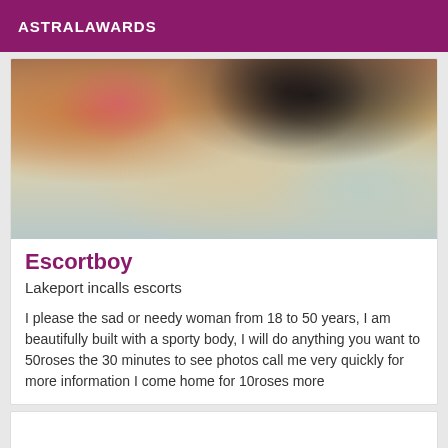ASTRALAWARDS
[Figure (photo): A person photographed in a mirror selfie, wearing a pink top and dark clothing, sitting on a bed with light-colored bedding.]
Escortboy
Lakeport incalls escorts
I please the sad or needy woman from 18 to 50 years, I am beautifully built with a sporty body, I will do anything you want to 50roses the 30 minutes to see photos call me very quickly for more information I come home for 10roses more